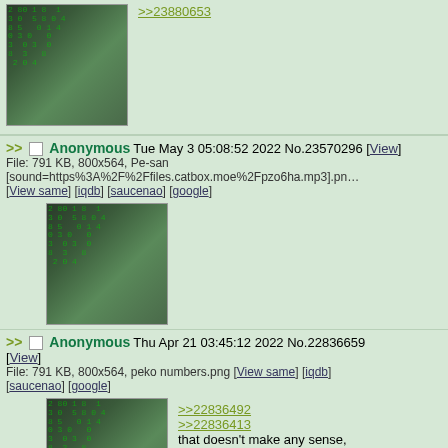[Figure (screenshot): Partial top post showing anime girl image with matrix-style numbers]
>>23880653
>> Anonymous Tue May 3 05:08:52 2022 No.23570296 [View]
File: 791 KB, 800x564, Pe-san [sound=https%3A%2F%2Ffiles.catbox.moe%2Fpzo6ha.mp3].png
[View same] [iqdb] [saucenao] [google]
[Figure (screenshot): Anime girl with matrix-style numbers overlay]
>> Anonymous Thu Apr 21 03:45:12 2022 No.22836659 [View]
File: 791 KB, 800x564, peko numbers.png [View same] [iqdb] [saucenao] [google]
>>22836492
>>22836413
that doesn't make any sense,
it's clearly a #
[Figure (screenshot): Anime girl with matrix-style numbers overlay]
>> Anonymous Wed Apr 20 05:23:58 2022 No.22778583